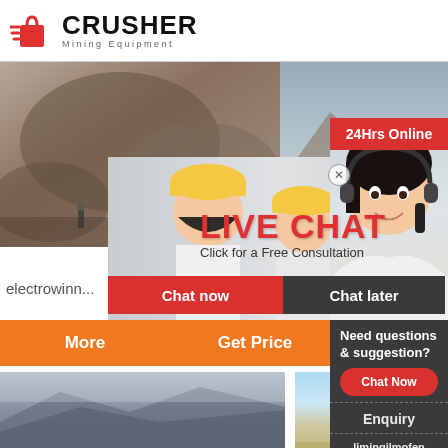[Figure (logo): CRUSHER Mining Equipment logo with red shopping bag icon and bold black text]
[Figure (photo): Mining quarry site with large rocks and workers in background]
[Figure (photo): Mountain landscape background photo on right side]
[Figure (photo): Three workers in yellow hard hats and white shirts]
[Figure (photo): Customer service representative with headset smiling]
LIVE CHAT
Click for a Free Consultation
24Hrs Online
electrowinn...
Chat now
Chat later
More
Get Price
Email c...
Need questions & suggestion?
Chat Now
Enquiry
limingjlmofen@sina.com
[Figure (photo): Mountain/fog landscape bottom left]
[Figure (photo): Industrial equipment/cranes bottom right]